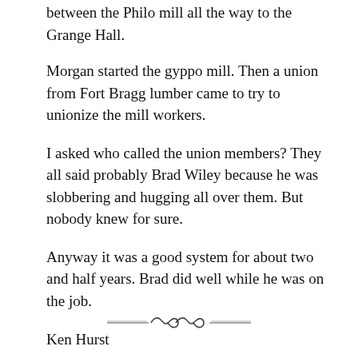between the Philo mill all the way to the Grange Hall.
Morgan started the gyppo mill. Then a union from Fort Bragg lumber came to try to unionize the mill workers.
I asked who called the union members? They all said probably Brad Wiley because he was slobbering and hugging all over them. But nobody knew for sure.
Anyway it was a good system for about two and half years. Brad did well while he was on the job.
Ken Hurst
Philo
[Figure (illustration): Decorative ornamental divider with curling wave motif and horizontal lines on either side]